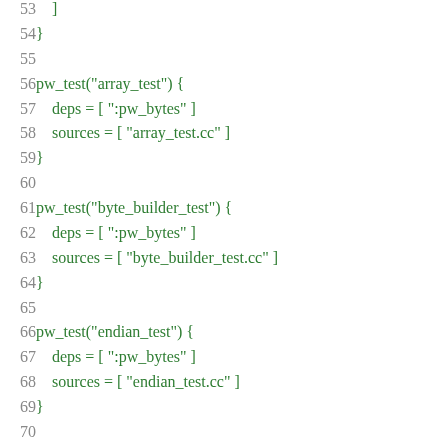Code listing lines 53-73, showing pw_test build definitions for array_test, byte_builder_test, endian_test, and units_test